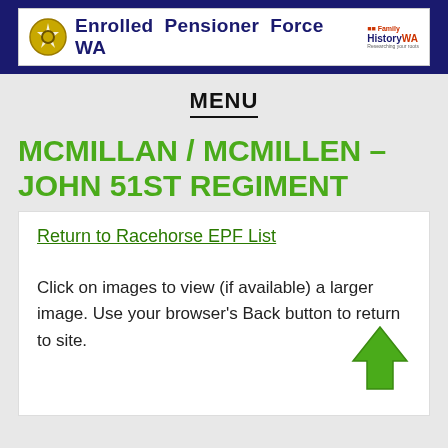Enrolled Pensioner Force WA | Family History WA
MENU
MCMILLAN / MCMILLEN – JOHN 51ST REGIMENT
Return to Racehorse EPF List
Click on images to view (if available) a larger image. Use your browser's Back button to return to site.